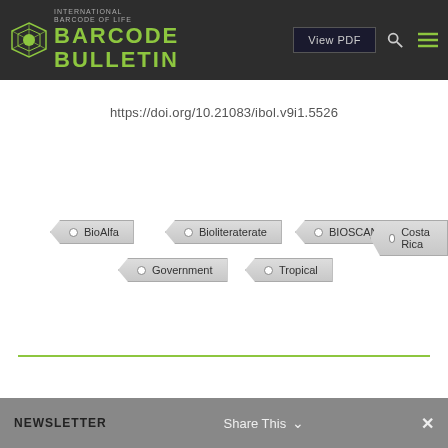BARCODE BULLETIN | View PDF
https://doi.org/10.21083/ibol.v9i1.5526
BioAlfa
Bioliteraterate
BIOSCAN
Costa Rica
Government
Tropical
NEWSLETTER   Share This   ✕